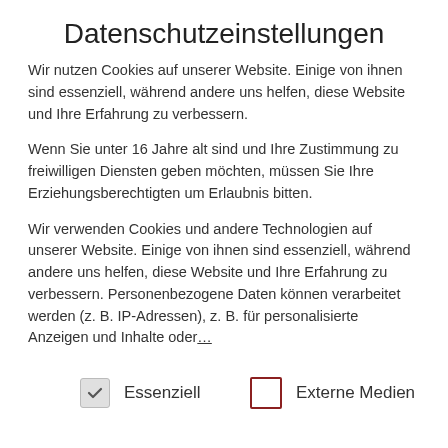Datenschutzeinstellungen
Wir nutzen Cookies auf unserer Website. Einige von ihnen sind essenziell, während andere uns helfen, diese Website und Ihre Erfahrung zu verbessern.
Wenn Sie unter 16 Jahre alt sind und Ihre Zustimmung zu freiwilligen Diensten geben möchten, müssen Sie Ihre Erziehungsberechtigten um Erlaubnis bitten.
Wir verwenden Cookies und andere Technologien auf unserer Website. Einige von ihnen sind essenziell, während andere uns helfen, diese Website und Ihre Erfahrung zu verbessern. Personenbezogene Daten können verarbeitet werden (z. B. IP-Adressen), z. B. für personalisierte Anzeigen und Inhalte oder...
Essenziell
Externe Medien
Arthropoda varia
Barcoding Fauna Bavarica
Birds